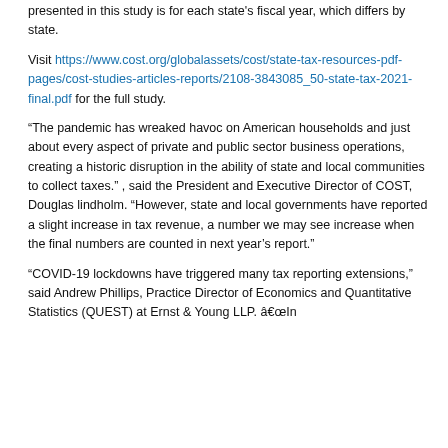presented in this study is for each state's fiscal year, which differs by state.
Visit https://www.cost.org/globalassets/cost/state-tax-resources-pdf-pages/cost-studies-articles-reports/2108-3843085_50-state-tax-2021-final.pdf for the full study.
“The pandemic has wreaked havoc on American households and just about every aspect of private and public sector business operations, creating a historic disruption in the ability of state and local communities to collect taxes.” , said the President and Executive Director of COST, Douglas lindholm. “However, state and local governments have reported a slight increase in tax revenue, a number we may see increase when the final numbers are counted in next year’s report.”
“COVID-19 lockdowns have triggered many tax reporting extensions,” said Andrew Phillips, Practice Director of Economics and Quantitative Statistics (QUEST) at Ernst & Young LLP. âIn